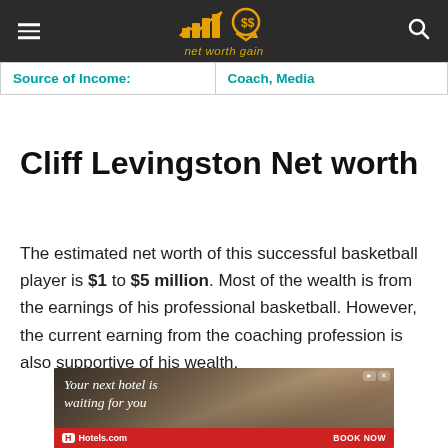net worth gain
| Source of Income: |  |
| --- | --- |
| Source of Income: | Coach, Media |
Cliff Levingston Net worth
The estimated net worth of this successful basketball player is $1 to $5 million. Most of the wealth is from the earnings of his professional basketball. However, the current earning from the coaching profession is also supportive of his wealth.
[Figure (other): Hotels.com advertisement banner: 'Your next hotel is waiting for you' with cityscape background and BOOK NOW call to action]